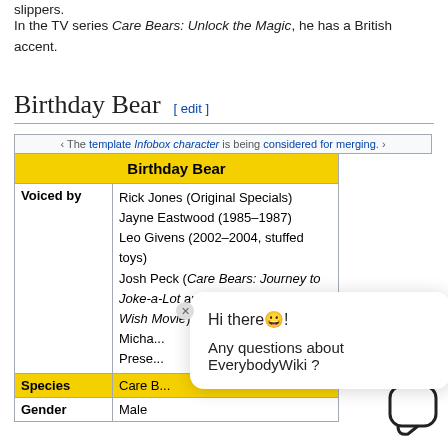slippers.
In the TV series Care Bears: Unlock the Magic, he has a British accent.
Birthday Bear [ edit ]
‹ The template Infobox character is being considered for merging. ›
| Birthday Bear |
| --- |
| Voiced by | Rick Jones (Original Specials)
Jayne Eastwood (1985–1987)
Leo Givens (2002–2004, stuffed toys)
Josh Peck (Care Bears: Journey to Joke-a-Lot and The Care Bears Big Wish Movie)
Micha...
Prese... |
| Species | Care B... |
| Gender | Male |
Hi there😀! Any questions about EverybodyWiki ?